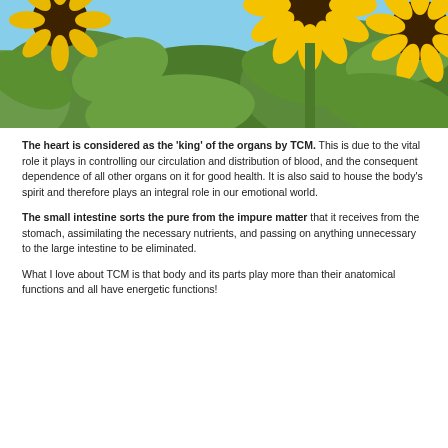[Figure (photo): Close-up photograph of sunflowers with yellow petals and green leaves against a blue sky background, cropped to show the top portion of the flowers.]
The heart is considered as the 'king' of the organs by TCM. This is due to the vital role it plays in controlling our circulation and distribution of blood, and the consequent dependence of all other organs on it for good health. It is also said to house the body's spirit and therefore plays an integral role in our emotional world.
The small intestine sorts the pure from the impure matter that it receives from the stomach, assimilating the necessary nutrients, and passing on anything unnecessary to the large intestine to be eliminated.
What I love about TCM is that body and its parts play more than their anatomical functions and all have energetic functions!